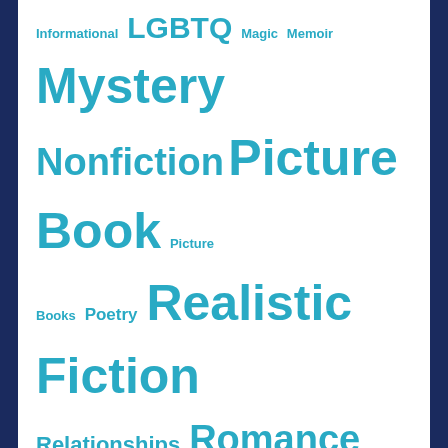Informational LGBTQ Magic Memoir Mystery Nonfiction Picture Book Picture Books Poetry Realistic Fiction Relationships Romance Science Science Fiction Series Series Nonfiction Siblings Social Emotional Learning Social Issues Sports STEM Survival World War II
Recent Posts
Elem./MG – Explaining How Things Work (Series NF) August 3, 2022
YA – The National Parks: Preserving America's Wild Places August 3, 2022
Elem. – Never Forget: Heroes of 9/11 (Series NF) August 3, 2022
Elem. – Wait! What? Teddy Roosevelt was a Moose? August 3, 2022